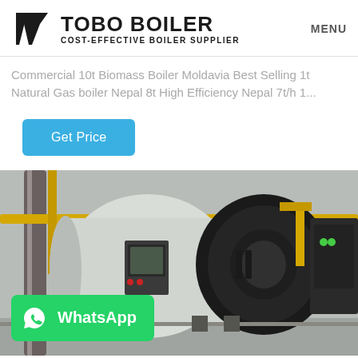[Figure (logo): TOBO BOILER logo with black geometric icon on the left and bold text TOBO BOILER with subtitle COST-EFFECTIVE BOILER SUPPLIER, and MENU text on the right]
Commercial 10t Biomass Boiler Moldavia Best Selling 1t Natural Gas boiler Nepal 8t High Efficiency Nepal 7t/h 1...
Get Price
[Figure (photo): Industrial boiler equipment photo showing large cylindrical boilers with pipes, control panels, and yellow gas pipes in an industrial facility. WhatsApp button overlay in bottom left corner.]